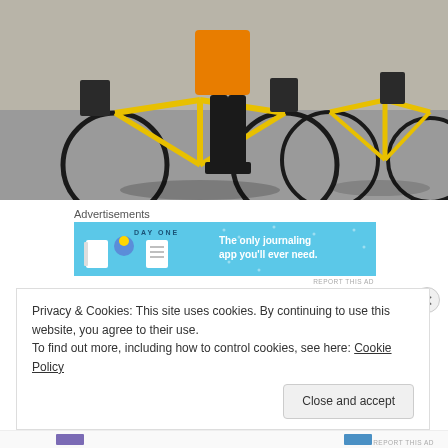[Figure (photo): A person standing next to two yellow road bicycles leaning against a stone wall. The person is wearing an orange top and black shorts/leggings with black shoes. The bikes are fully loaded with black panniers/bags. Shadows are cast on the pavement.]
Advertisements
[Figure (other): Advertisement banner for Day One journaling app. Light blue background with DAY ONE logo and icons on the left, text on the right reading: The only journaling app you'll ever need.]
REPORT THIS AD
Privacy & Cookies: This site uses cookies. By continuing to use this website, you agree to their use.
To find out more, including how to control cookies, see here: Cookie Policy
Close and accept
REPORT THIS AD